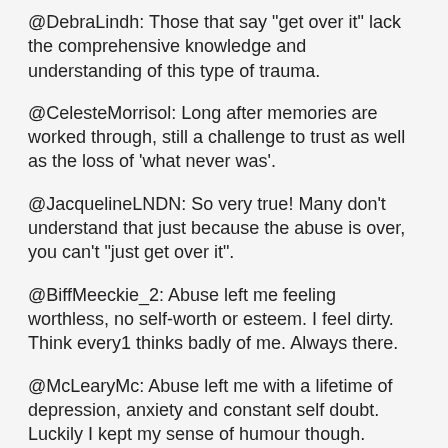@DebraLindh: Those that say "get over it" lack the comprehensive knowledge and understanding of this type of trauma.
@CelesteMorrisol: Long after memories are worked through, still a challenge to trust as well as the loss of 'what never was'.
@JacquelineLNDN: So very true! Many don't understand that just because the abuse is over, you can't "just get over it".
@BiffMeeckie_2: Abuse left me feeling worthless, no self-worth or esteem. I feel dirty. Think every1 thinks badly of me. Always there.
@McLearyMc: Abuse left me with a lifetime of depression, anxiety and constant self doubt. Luckily I kept my sense of humour though.
What are the Effects of Abuse?